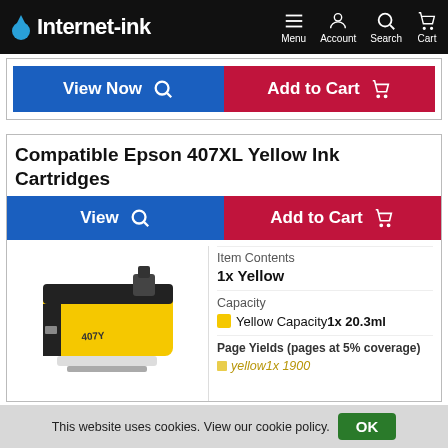Internet-ink — Menu, Account, Search, Cart
[Figure (screenshot): Blue 'View Now' button with magnifier icon and red 'Add to Cart' button with basket icon]
Compatible Epson 407XL Yellow Ink Cartridges
[Figure (screenshot): Blue 'View' button with magnifier icon and red 'Add to Cart' button with basket icon]
[Figure (photo): Yellow Epson 407XL ink cartridge]
Item Contents
1x Yellow
Capacity
Yellow Capacity 1x 20.3ml
Page Yields (pages at 5% coverage)
yellow1x 1900
This website uses cookies. View our cookie policy.